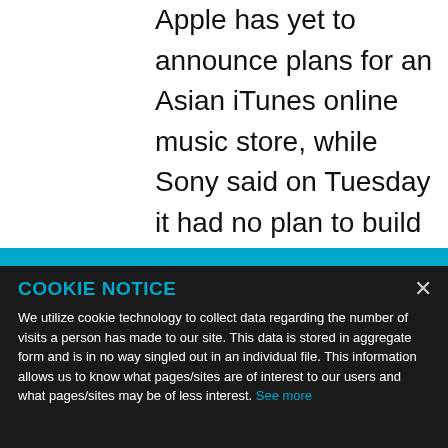Apple has yet to announce plans for an Asian iTunes online music store, while Sony said on Tuesday it had no plan to build an Asian version of its
COOKIE NOTICE
We utilize cookie technology to collect data regarding the number of visits a person has made to our site. This data is stored in aggregate form and is in no way singled out in an individual file. This information allows us to know what pages/sites are of interest to our users and what pages/sites may be of less interest. See more